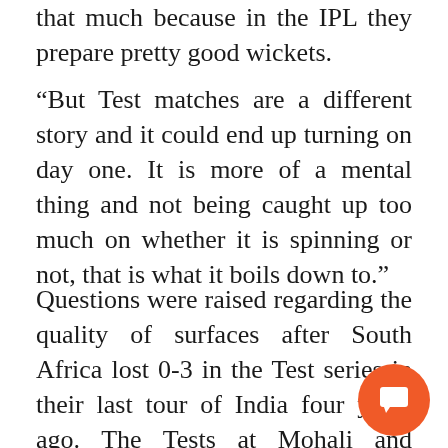that much because in the IPL they prepare pretty good wickets.
“But Test matches are a different story and it could end up turning on day one. It is more of a mental thing and not being caught up too much on whether it is spinning or not, that is what it boils down to.”
Questions were raised regarding the quality of surfaces after South Africa lost 0-3 in the Test series in their last tour of India four years ago. The Tests at Mohali and Nagpur didn’t last five days with South Africa batsmen falling prey to Indian spinners. In fact, the Nagpur pitch